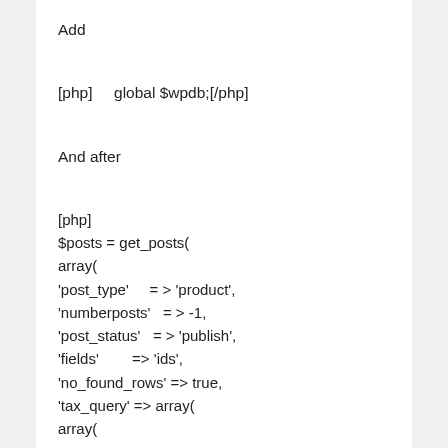Add
[php]    global $wpdb;[/php]
And after
[php]
$posts = get_posts(
array(
'post_type'     = > 'product',
'numberposts'   = > -1,
'post_status'   = > 'publish',
'fields'        => 'ids',
'no_found_rows' => true,
'tax_query' => array(
array(